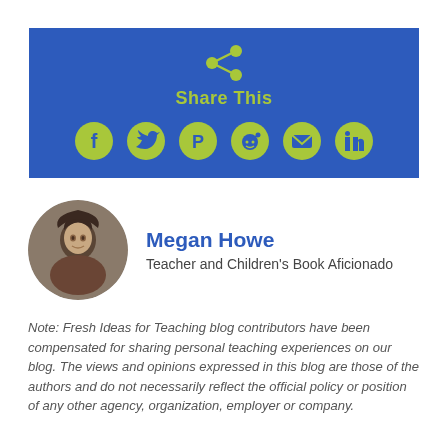[Figure (infographic): Blue banner with share icon and social media icons (Facebook, Twitter, Pinterest, Reddit, Email, LinkedIn) in lime green, with 'Share This' label]
[Figure (photo): Circular cropped photo of Megan Howe, a woman with dark hair]
Megan Howe
Teacher and Children's Book Aficionado
Note: Fresh Ideas for Teaching blog contributors have been compensated for sharing personal teaching experiences on our blog. The views and opinions expressed in this blog are those of the authors and do not necessarily reflect the official policy or position of any other agency, organization, employer or company.